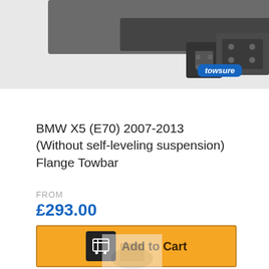[Figure (photo): Top portion of a towbar product photo showing a vehicle tow hitch assembly with a Towsure logo badge in blue at the bottom right of the image]
BMW X5 (E70) 2007-2013 (Without self-leveling suspension) Flange Towbar
FROM
£293.00
[Figure (other): Add to Cart button with shopping cart icon on dark square background, yellow/orange background button with bold text 'Add to Cart']
[Figure (photo): Bottom partial product image, appears to be another towbar product photo cut off at page bottom]